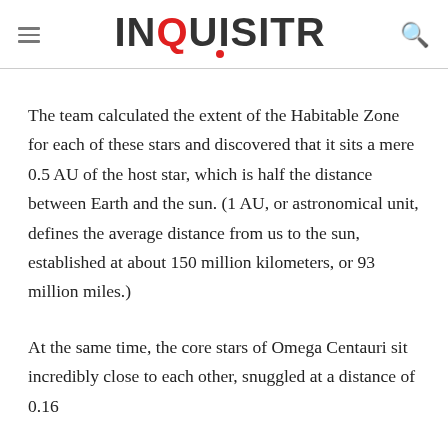INQUISITR
The team calculated the extent of the Habitable Zone for each of these stars and discovered that it sits a mere 0.5 AU of the host star, which is half the distance between Earth and the sun. (1 AU, or astronomical unit, defines the average distance from us to the sun, established at about 150 million kilometers, or 93 million miles.)
At the same time, the core stars of Omega Centauri sit incredibly close to each other, snuggled at a distance of 0.16